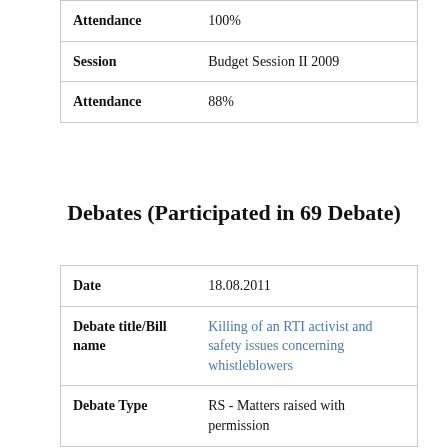| Field | Value |
| --- | --- |
| Attendance | 100% |
| Session | Budget Session II 2009 |
| Attendance | 88% |
Debates (Participated in 69 Debate)
| Field | Value |
| --- | --- |
| Date | 18.08.2011 |
| Debate title/Bill name | Killing of an RTI activist and safety issues concerning whistleblowers |
| Debate Type | RS - Matters raised with permission |